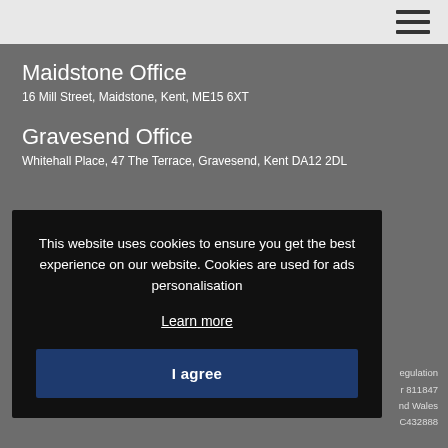Maidstone Office
16 Mill Street, Maidstone, Kent, ME15 6XT
Gravesend Office
Whitehall Place, 47 The Terrace, Gravesend, Kent DA12 2DL
This website uses cookies to ensure you get the best experience on our website. Cookies are used for ads personalisation
Learn more
I agree
egulation
r 811847
nd Wales
C432888